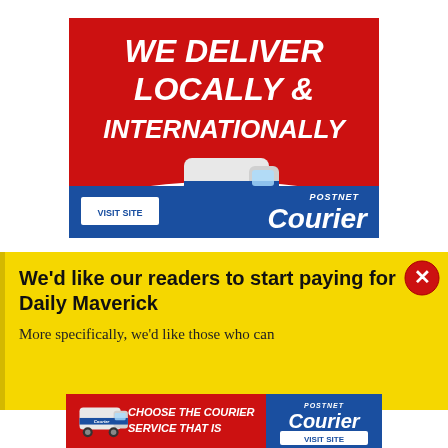[Figure (illustration): PostNet Courier advertisement banner. Red background with white bold italic text 'WE DELIVER LOCALLY & INTERNATIONALLY', a toy delivery van with Courier branding, and a blue footer bar with 'VISIT SITE' button and PostNet Courier logo.]
[Figure (illustration): Yellow notification banner with close (X) button. Headline: 'We'd like our readers to start paying for Daily Maverick'. Body text: 'More specifically, we'd like those who can']
[Figure (illustration): PostNet Courier bottom strip ad. Red section with toy van and 'CHOOSE THE COURIER SERVICE THAT IS' text. Blue section with PostNet Courier logo and VISIT SITE button.]